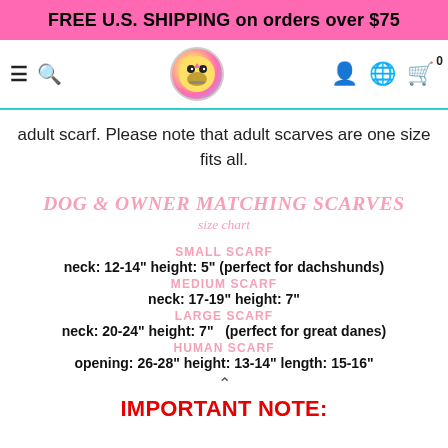FREE U.S. SHIPPING on orders over $75
[Figure (screenshot): Website navigation bar with hamburger menu, search icon, circular logo, account icon, globe icon, and shopping bag with badge 0]
adult scarf. Please note that adult scarves are one size fits all.
DOG & OWNER MATCHING SCARVES size chart
SMALL SCARF
neck: 12-14" height: 5" (perfect for dachshunds)
MEDIUM SCARF
neck: 17-19" height: 7"
LARGE SCARF
neck: 20-24" height: 7"  (perfect for great danes)
HUMAN SCARF
opening: 26-28" height: 13-14" length: 15-16"
IMPORTANT NOTE: